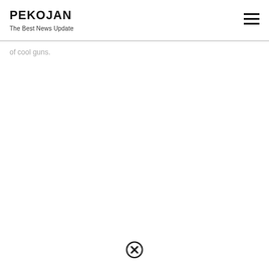PEKOJAN
The Best News Update
of cool guns.
[Figure (other): Close/cancel button icon (circled X) at bottom center of page]